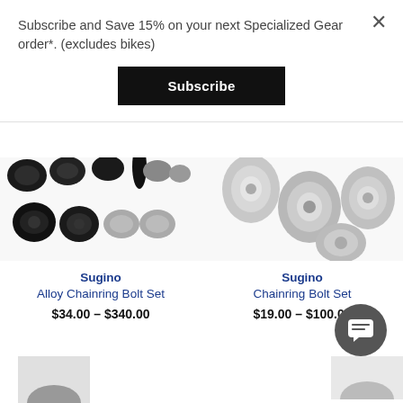Subscribe and Save 15% on your next Specialized Gear order*. (excludes bikes)
Subscribe
[Figure (photo): Black alloy chainring bolt set parts scattered on white background]
[Figure (photo): Silver/chrome chainring bolt set parts on white background]
Sugino
Alloy Chainring Bolt Set
$34.00 – $340.00
Sugino
Chainring Bolt Set
$19.00 – $100.00
[Figure (illustration): Chat/message icon button (dark grey circle with speech bubble icon)]
[Figure (photo): Partially visible product image at bottom left (cropped)]
[Figure (photo): Partially visible product image at bottom right (cropped)]